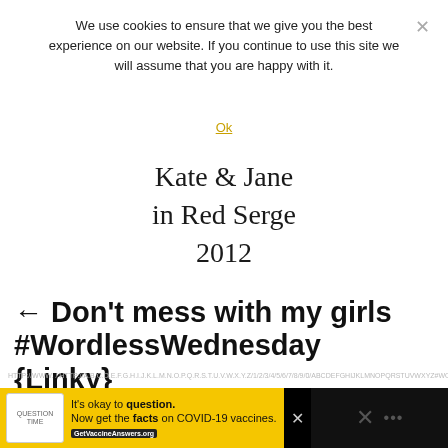We use cookies to ensure that we give you the best experience on our website. If you continue to use this site we will assume that you are happy with it.
Ok
Kate & Jane in Red Serge 2012
← Don't mess with my girls #WordlessWednesday {Linky}
It's okay to question. Now get the facts on COVID-19 vaccines. GetVaccineAnswers.org